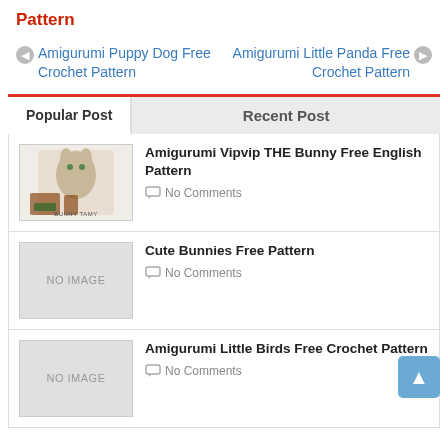Pattern
◀ Amigurumi Puppy Dog Free Crochet Pattern
Amigurumi Little Panda Free Crochet Pattern ▶
Popular Post
Recent Post
Amigurumi Vipvip THE Bunny Free English Pattern
No Comments
Cute Bunnies Free Pattern
No Comments
Amigurumi Little Birds Free Crochet Pattern
No Comments